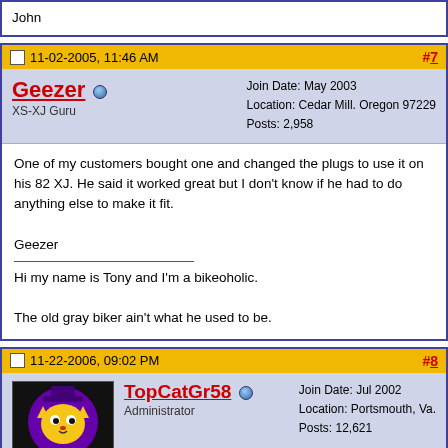John
11-02-2005, 11:46 AM  #7
Geezer
XS-XJ Guru
Join Date: May 2003
Location: Cedar Mill. Oregon 97229
Posts: 2,958
One of my customers bought one and changed the plugs to use it on his 82 XJ. He said it worked great but I don't know if he had to do anything else to make it fit.

Geezer

Hi my name is Tony and I'm a bikeoholic.

The old gray biker ain't what he used to be.
11-22-2006, 09:02 PM  #8
TopCatGr58
Administrator
Join Date: Jul 2002
Location: Portsmouth, Va.
Posts: 12,621
CUSTOM PARTS By MEMBERS
Hey Folks,